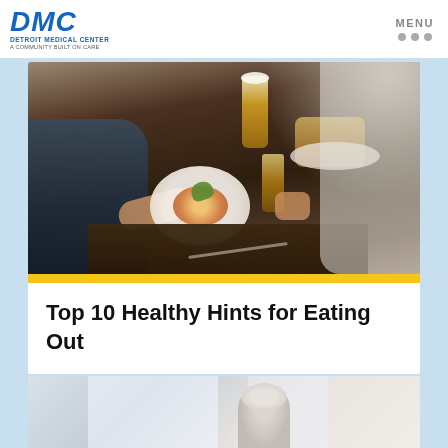DMC Detroit Medical Center A Community Built on Care | MENU
[Figure (photo): Overhead view of people dining at a restaurant table with food, plates, and beer glasses]
Top 10 Healthy Hints for Eating Out
[Figure (photo): Partial view of an elderly person, partially cropped at bottom of page]